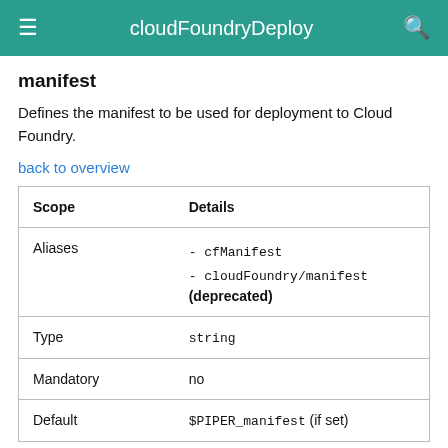cloudFoundryDeploy
manifest
Defines the manifest to be used for deployment to Cloud Foundry.
back to overview
| Scope | Details |
| --- | --- |
| Aliases | - cfManifest
- cloudFoundry/manifest (deprecated) |
| Type | string |
| Mandatory | no |
| Default | $PIPER_manifest (if set) |